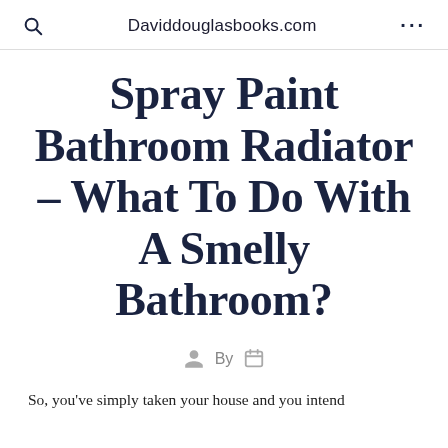Daviddouglasbooks.com
Spray Paint Bathroom Radiator – What To Do With A Smelly Bathroom?
By
So, you've simply taken your house and you intend